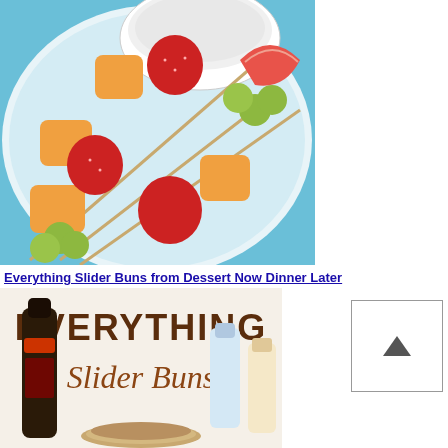[Figure (photo): Fruit kabobs with cantaloupe, strawberries, grapes, and apple slices on skewers arranged on a light blue plate with a white bowl of cream dip]
Everything Slider Buns from Dessert Now Dinner Later
[Figure (photo): Everything Slider Buns recipe image with bold brown text 'EVERYTHING Slider Buns' and condiment bottles in background]
[Figure (other): Scroll to top button with upward chevron arrow]